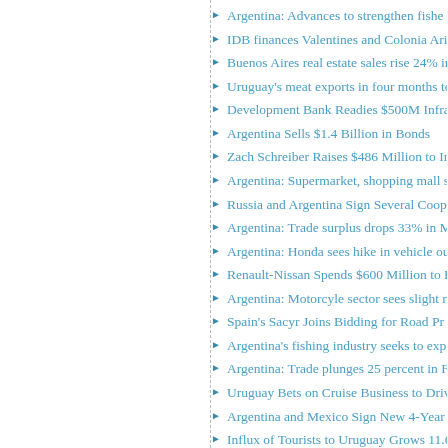Argentina: Advances to strengthen fisher...
IDB finances Valentines and Colonia Ari...
Buenos Aires real estate sales rise 24% in...
Uruguay's meat exports in four months to...
Development Bank Readies $500M Infras...
Argentina Sells $1.4 Billion in Bonds
Zach Schreiber Raises $486 Million to In...
Argentina: Supermarket, shopping mall sa...
Russia and Argentina Sign Several Coope...
Argentina: Trade surplus drops 33% in M...
Argentina: Honda sees hike in vehicle ou...
Renault-Nissan Spends $600 Million to B...
Argentina: Motorcyle sector sees slight re...
Spain's Sacyr Joins Bidding for Road Pr...
Argentina's fishing industry seeks to exp...
Argentina: Trade plunges 25 percent in Fe...
Uruguay Bets on Cruise Business to Driv...
Argentina and Mexico Sign New 4-Year A...
Influx of Tourists to Uruguay Grows 11.6...
Renault will build Logan, Sandero and Sa...
Argentina to build drones for defense
AmCham CEO says US businesses plan t...
Uruguay Seeks Finnish Investment in Tim...
Azerbaijan Lawmakers Begin South Ame...
Funding for Uruguay's Biggest Wind Far...
Argentina: Foreign tourists rise 9 percent...
YPF hopes for more investment
Argentina: Auto production drops 13.9 pe...
Argentina: Auto sales plunge 28 percen...